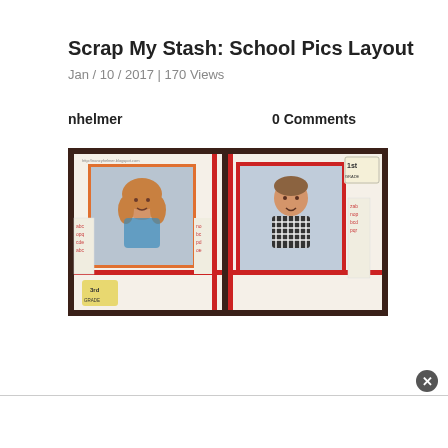Scrap My Stash: School Pics Layout
Jan / 10 / 2017 | 170 Views
nhelmer
0 Comments
[Figure (photo): A scrapbook layout with two school photos — a girl on the left page with orange border and alphabet strips, labeled 3rd grade; a boy on the right page with red border and alphabet strips, labeled 1st grade. The background is dark brown/wood-colored.]